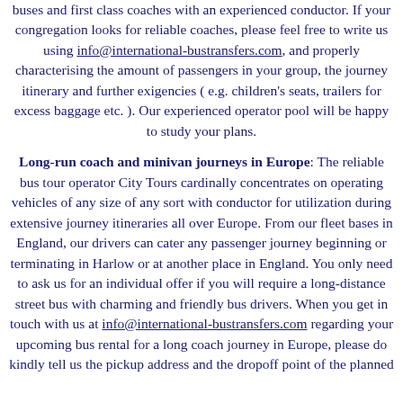buses and first class coaches with an experienced conductor. If your congregation looks for reliable coaches, please feel free to write us using info@international-bustransfers.com, and properly characterising the amount of passengers in your group, the journey itinerary and further exigencies (e.g. children's seats, trailers for excess baggage etc.). Our experienced operator pool will be happy to study your plans.
Long-run coach and minivan journeys in Europe: The reliable bus tour operator City Tours cardinally concentrates on operating vehicles of any size of any sort with conductor for utilization during extensive journey itineraries all over Europe. From our fleet bases in England, our drivers can cater any passenger journey beginning or terminating in Harlow or at another place in England. You only need to ask us for an individual offer if you will require a long-distance street bus with charming and friendly bus drivers. When you get in touch with us at info@international-bustransfers.com regarding your upcoming bus rental for a long coach journey in Europe, please do kindly tell us the pickup address and the dropoff point of the planned